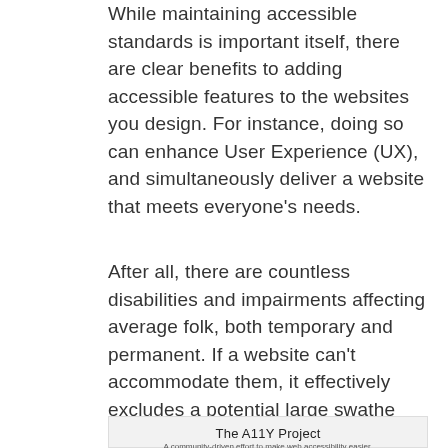While maintaining accessible standards is important itself, there are clear benefits to adding accessible features to the websites you design. For instance, doing so can enhance User Experience (UX), and simultaneously deliver a website that meets everyone's needs.
After all, there are countless disabilities and impairments affecting average folk, both temporary and permanent. If a website can't accommodate them, it effectively excludes a potential large swathe from using it.
[Figure (logo): The A11Y Project logo: a black circle with a white accessibility icon (person with arms outstretched), below which reads 'The A11Y Project' and a small subtitle line.]